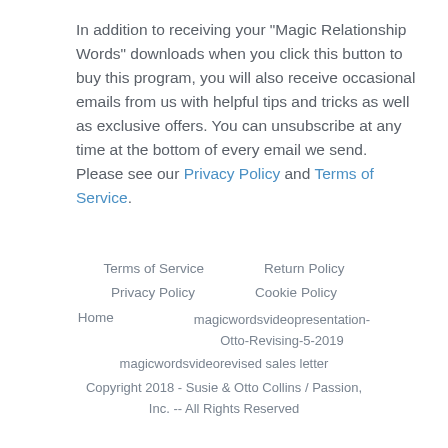In addition to receiving your "Magic Relationship Words" downloads when you click this button to buy this program, you will also receive occasional emails from us with helpful tips and tricks as well as exclusive offers. You can unsubscribe at any time at the bottom of every email we send. Please see our Privacy Policy and Terms of Service.
Terms of Service   Return Policy   Privacy Policy   Cookie Policy   Home   magicwordsvideopresentation-Otto-Revising-5-2019   magicwordsvideorevised sales letter   Copyright 2018 - Susie & Otto Collins / Passion, Inc. -- All Rights Reserved